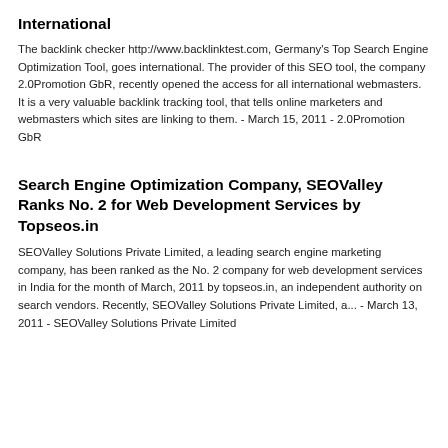International
The backlink checker http://www.backlinktest.com, Germany's Top Search Engine Optimization Tool, goes international. The provider of this SEO tool, the company 2.0Promotion GbR, recently opened the access for all international webmasters. It is a very valuable backlink tracking tool, that tells online marketers and webmasters which sites are linking to them. - March 15, 2011 - 2.0Promotion GbR
Search Engine Optimization Company, SEOValley Ranks No. 2 for Web Development Services by Topseos.in
SEOValley Solutions Private Limited, a leading search engine marketing company, has been ranked as the No. 2 company for web development services in India for the month of March, 2011 by topseos.in, an independent authority on search vendors. Recently, SEOValley Solutions Private Limited, a... - March 13, 2011 - SEOValley Solutions Private Limited